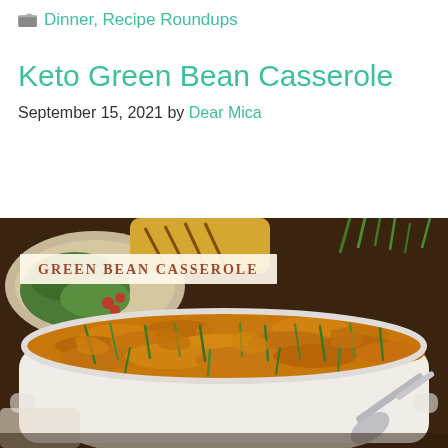Dinner, Recipe Roundups
Keto Green Bean Casserole
September 15, 2021 by Dear Mica
[Figure (photo): A white casserole dish filled with green bean casserole topped with crispy fried onions, with a serving spoon. A plate of food and cranberries visible in background. Overlay text reads GREEN BEAN CASSEROLE.]